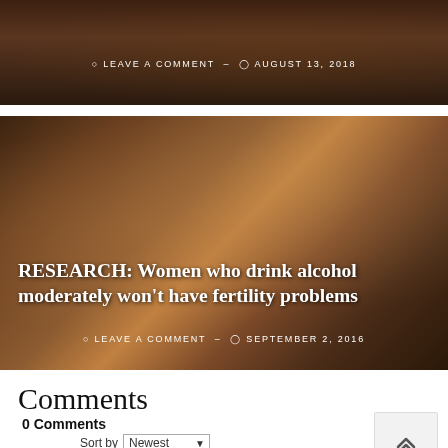[Figure (photo): Partial top image strip showing a dark scene, with 'LEAVE A COMMENT' and 'AUGUST 13, 2018' metadata overlay in white text]
[Figure (photo): Two women socializing and laughing, holding drinks, at a bar or lounge. Dark warm-toned background. Overlaid with article title and metadata.]
RESEARCH: Women who drink alcohol moderately won't have fertility problems
LEAVE A COMMENT – SEPTEMBER 2, 2016
Comments
0 Comments
Sort by Newest